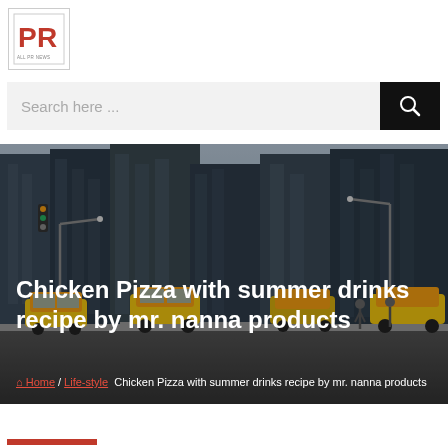[Figure (logo): PR logo — red P and R letters in a square box with tagline text below]
Search here ...
[Figure (photo): Urban street scene with yellow taxis, tall buildings, pedestrians crossing — New York City style]
Chicken Pizza with summer drinks recipe by mr. nanna products
Home / Lifestyle  Chicken Pizza with summer drinks recipe by mr. nanna products